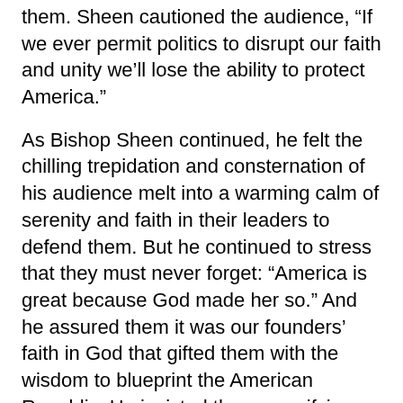them. Sheen cautioned the audience, "If we ever permit politics to disrupt our faith and unity we’ll lose the ability to protect America."
As Bishop Sheen continued, he felt the chilling trepidation and consternation of his audience melt into a warming calm of serenity and faith in their leaders to defend them. But he continued to stress that they must never forget: “America is great because God made her so.” And he assured them it was our founders’ faith in God that gifted them with the wisdom to blueprint the American Republic. He insisted the one unifying element of the American experiment was freedom of religion. And that alone would always be our saving grace. He told his audience, “Everyday Americans pray to their Lord. And no matter what words they use, the spirit of every prayer is the same: It is their faith and trust in God that keeps us united and brings us peace.” He cautioned them to never stop praying.